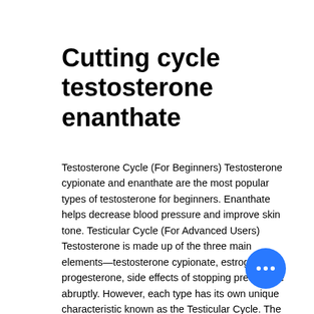Cutting cycle testosterone enanthate
Testosterone Cycle (For Beginners) Testosterone cypionate and enanthate are the most popular types of testosterone for beginners. Enanthate helps decrease blood pressure and improve skin tone. Testicular Cycle (For Advanced Users) Testosterone is made up of the three main elements—testosterone cypionate, estrogen, and progesterone, side effects of stopping prednisone abruptly. However, each type has its own unique characteristic known as the Testicular Cycle. The Testicular Cycle starts when the skin's follicle goes dormant—it turns into a coccyx, and then matures several sets of tubes, each with its own unique characteristics, do collagen peptides